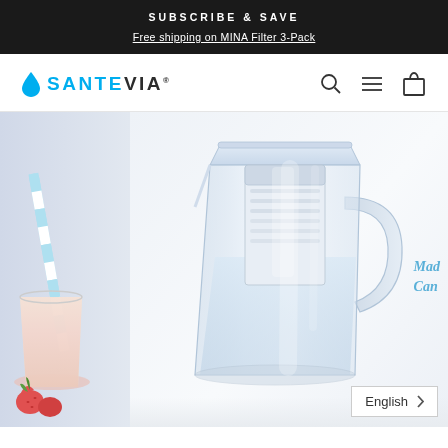SUBSCRIBE & SAVE
Free shipping on MINA Filter 3-Pack
[Figure (logo): Santevia logo with blue water drop icon and bold text SANTEVIA]
[Figure (photo): Santevia water filter pitcher (clear/transparent plastic) with filter cartridge inside, on white surface. Partially visible on left: smoothie drink with striped straw and strawberries. Partially visible on right: handwritten text 'Mad Can' in blue. Bottom right: English language selector button.]